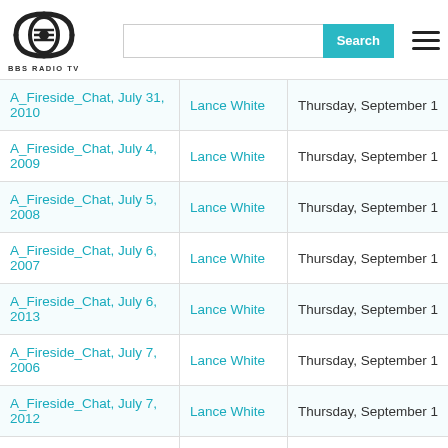BBS Radio TV header with logo, search bar, and hamburger menu
| Title | Author | Date |
| --- | --- | --- |
| A_Fireside_Chat, July 31, 2010 | Lance White | Thursday, September 1 |
| A_Fireside_Chat, July 4, 2009 | Lance White | Thursday, September 1 |
| A_Fireside_Chat, July 5, 2008 | Lance White | Thursday, September 1 |
| A_Fireside_Chat, July 6, 2007 | Lance White | Thursday, September 1 |
| A_Fireside_Chat, July 6, 2013 | Lance White | Thursday, September 1 |
| A_Fireside_Chat, July 7, 2006 | Lance White | Thursday, September 1 |
| A_Fireside_Chat, July 7, 2012 | Lance White | Thursday, September 1 |
| A_Fireside_Chat, June 1, 2007 | Lance White | Thursday, September 1 |
| A_Fireside_Chat, June 1, 2013 | Lance White | Thursday, September 1 |
| A_Fireside_Chat, June 12, 2010 | Lance White | Thursday, September 1 |